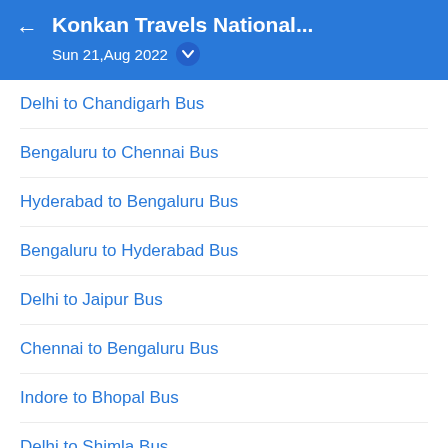Konkan Travels National... Sun 21,Aug 2022
Delhi to Chandigarh Bus
Bengaluru to Chennai Bus
Hyderabad to Bengaluru Bus
Bengaluru to Hyderabad Bus
Delhi to Jaipur Bus
Chennai to Bengaluru Bus
Indore to Bhopal Bus
Delhi to Shimla Bus
Kolkata to Siliguri Bus
Bhopal to Indore Bus
Pune to Goa Bus
Mumbai to Pune Bus
Lucknow to Delhi Bus